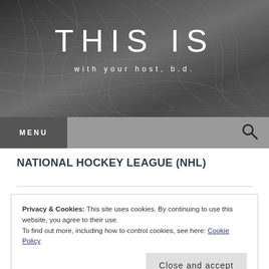[Figure (illustration): Dark grey abstract banner with horizontal scan-line texture and sketch-like line art imagery, blog header for 'THIS IS with your host, b.d.']
THIS IS
with your host, b.d.
MENU
NATIONAL HOCKEY LEAGUE (NHL)
Privacy & Cookies: This site uses cookies. By continuing to use this website, you agree to their use.
To find out more, including how to control cookies, see here: Cookie Policy
Close and accept